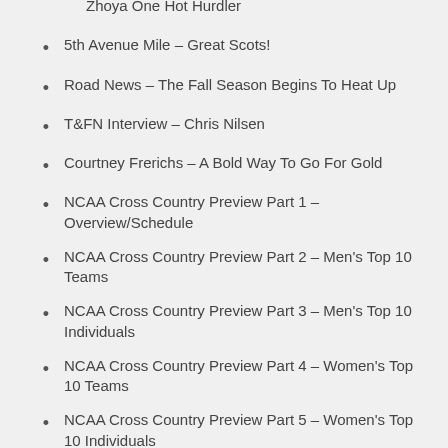World Senior Championships – Sacha Zhoya One Hot Hurdler
5th Avenue Mile – Great Scots!
Road News – The Fall Season Begins To Heat Up
T&FN Interview – Chris Nilsen
Courtney Frerichs – A Bold Way To Go For Gold
NCAA Cross Country Preview Part 1 – Overview/Schedule
NCAA Cross Country Preview Part 2 – Men's Top 10 Teams
NCAA Cross Country Preview Part 3 – Men's Top 10 Individuals
NCAA Cross Country Preview Part 4 – Women's Top 10 Teams
NCAA Cross Country Preview Part 5 – Women's Top 10 Individuals
Book Review – Abdi's World…